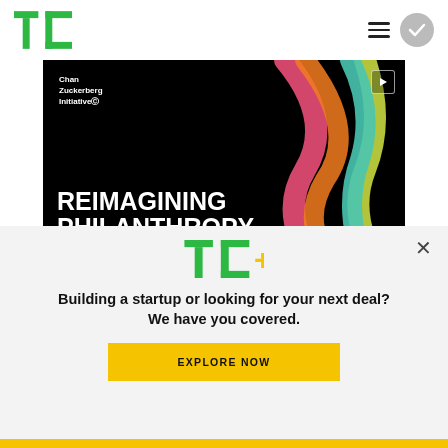TechCrunch header with logo, hamburger menu, and circle button
[Figure (screenshot): Chan Zuckerberg Initiative banner: 'Reimagining Philanthropy with Technology' on black background with colorful curved ribbons and play button]
TC+
Building a startup or looking for your next deal? We have you covered.
EXPLORE NOW